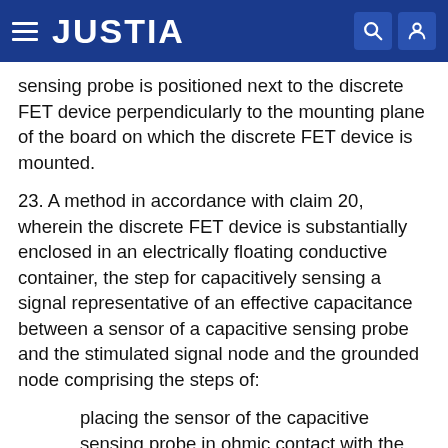JUSTIA
sensing probe is positioned next to the discrete FET device perpendicularly to the mounting plane of the board on which the discrete FET device is mounted.
23. A method in accordance with claim 20, wherein the discrete FET device is substantially enclosed in an electrically floating conductive container, the step for capacitively sensing a signal representative of an effective capacitance between a sensor of a capacitive sensing probe and the stimulated signal node and the grounded node comprising the steps of:
placing the sensor of the capacitive sensing probe in ohmic contact with the container.
24. A method in accordance with claim 23, wherein the capacitive sensing probe is formed by placing an ohmic contact probe in electrical contact with the container.